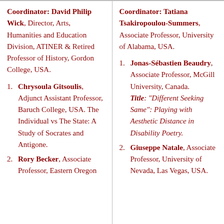Coordinator: David Philip Wick, Director, Arts, Humanities and Education Division, ATINER & Retired Professor of History, Gordon College, USA.
1. Chrysoula Gitsoulis, Adjunct Assistant Professor, Baruch College, USA. The Individual vs The State: A Study of Socrates and Antigone.
2. Rory Becker, Associate Professor, Eastern Oregon
Coordinator: Tatiana Tsakiropoulou-Summers, Associate Professor, University of Alabama, USA.
1. Jonas-Sébastien Beaudry, Associate Professor, McGill University, Canada. Title: "Different Seeking Same": Playing with Aesthetic Distance in Disability Poetry.
2. Giuseppe Natale, Associate Professor, University of Nevada, Las Vegas, USA.